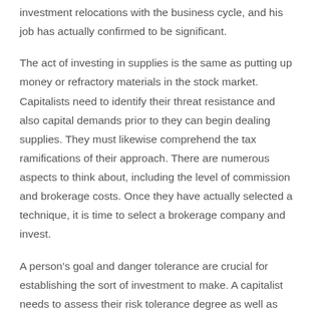investment relocations with the business cycle, and his job has actually confirmed to be significant.
The act of investing in supplies is the same as putting up money or refractory materials in the stock market. Capitalists need to identify their threat resistance and also capital demands prior to they can begin dealing supplies. They must likewise comprehend the tax ramifications of their approach. There are numerous aspects to think about, including the level of commission and brokerage costs. Once they have actually selected a technique, it is time to select a brokerage company and invest.
A person's goal and danger tolerance are crucial for establishing the sort of investment to make. A capitalist needs to assess their risk tolerance degree as well as cash flow requires prior to